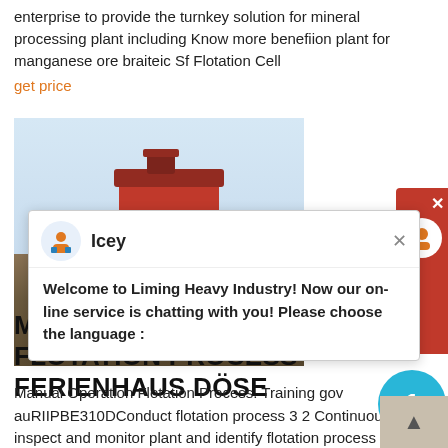enterprise to provide the turnkey solution for mineral processing plant including Know more benefiion plant for manganese ore braiteic Sf Flotation Cell
get price
[Figure (photo): Photo of industrial mineral processing/flotation equipment (red machine) above ground/soil]
Welcome to Liming Heavy Industry! Now our on-line service is chatting with you! Please choose the language :
MANUAL OPERATION FLOTATION PROCESS FERIENHAUS DÖSE
Manual Operation Flotation Process. Training gov auRIIPBE310DConduct flotation process 3 2 Continuously inspect and monitor plant and identify flotation process defects and potential problems 3 3 Assess mineral content of ore